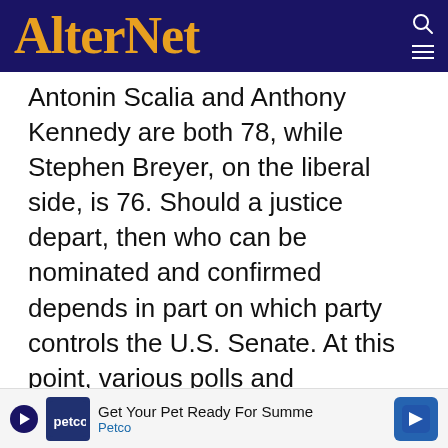AlterNet
Antonin Scalia and Anthony Kennedy are both 78, while Stephen Breyer, on the liberal side, is 76. Should a justice depart, then who can be nominated and confirmed depends in part on which party controls the U.S. Senate. At this point, various polls and prognostications suggest the Republicans could gain control in November, or it will be very close.
But more important is the fact that the elimination of the 60-vote super-majority to en